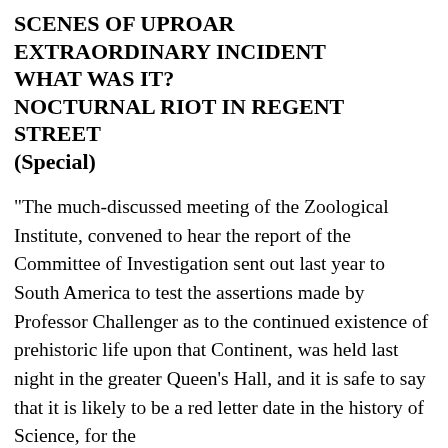SCENES OF UPROAR
EXTRAORDINARY INCIDENT
WHAT WAS IT?
NOCTURNAL RIOT IN REGENT STREET
(Special)
"The much-discussed meeting of the Zoological Institute, convened to hear the report of the Committee of Investigation sent out last year to South America to test the assertions made by Professor Challenger as to the continued existence of prehistoric life upon that Continent, was held last night in the greater Queen's Hall, and it is safe to say that it is likely to be a red letter date in the history of Science, for the